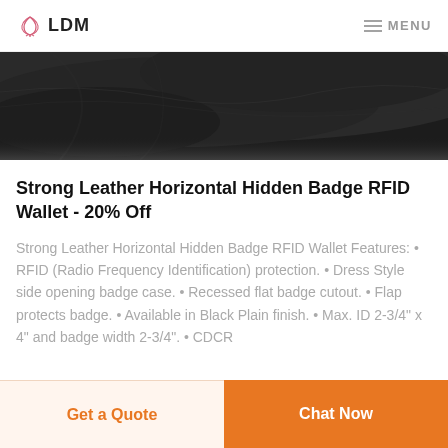LDM  MENU
[Figure (photo): Close-up of dark black leather texture of a wallet, partially visible against white background]
Strong Leather Horizontal Hidden Badge RFID Wallet - 20% Off
Strong Leather Horizontal Hidden Badge RFID Wallet Features: • RFID (Radio Frequency Identification) protection. • Dress Style side opening badge case. • Recessed flat badge cutout. • Flap protects badge. • Available in Black Plain finish. • Max. ID 2-3/4" x 4" and badge width 2-3/4". • CDCR